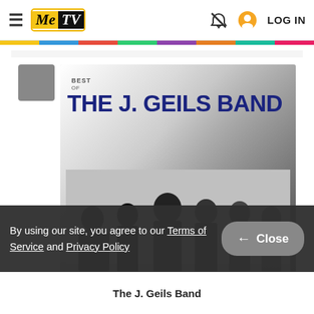MeTV — LOG IN
[Figure (illustration): Album cover for 'Best Of The J. Geils Band' showing the band members in black and white photo with the album title in large dark blue text]
By using our site, you agree to our Terms of Service and Privacy Policy
The J. Geils Band